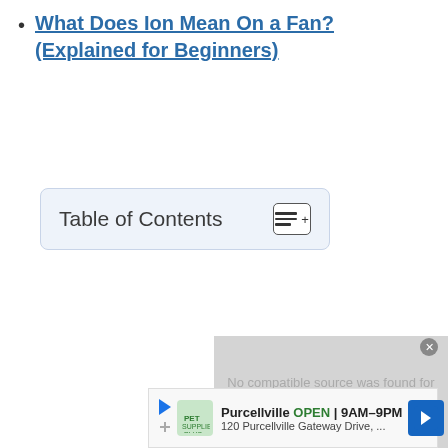What Does Ion Mean On a Fan? (Explained for Beginners)
[Figure (other): Table of Contents collapsible box with icon button]
[Figure (other): Video player placeholder showing 'No compatible source was found for this media.' with close button]
[Figure (other): Advertisement banner: Purcellville OPEN 9AM-9PM, 120 Purcellville Gateway Drive, with Pet Supplies Plus logo and navigation arrow icon]